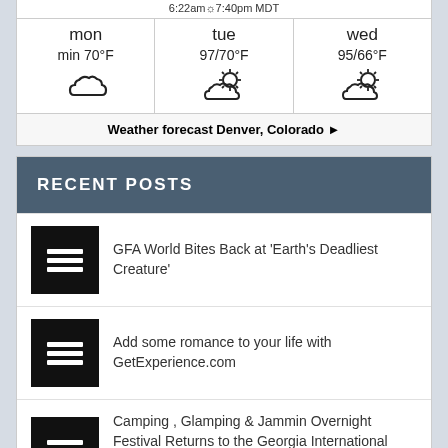6:22am☼7:40pm MDT
| mon | tue | wed |
| --- | --- | --- |
| min 70°F | 97/70°F | 95/66°F |
Weather forecast Denver, Colorado ►
RECENT POSTS
GFA World Bites Back at 'Earth's Deadliest Creature'
Add some romance to your life with GetExperience.com
Camping , Glamping & Jammin Overnight Festival Returns to the Georgia International Horse Park in Conyers on August 27th With Slutty Vegan Food Truck